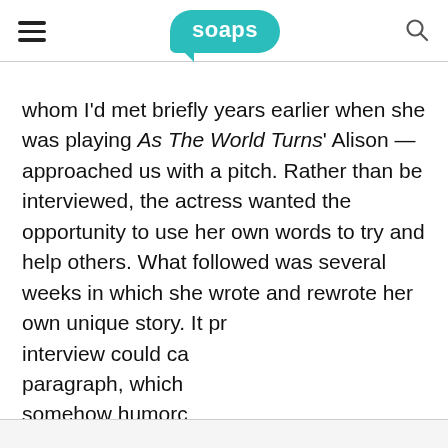soaps
whom I'd met briefly years earlier when she was playing As The World Turns' Alison — approached us with a pitch. Rather than be interviewed, the actress wanted the opportunity to use her own words to try and help others. What followed was several weeks in which she wrote and rewrote her own unique story. It pr
interview could ca
paragraph, which
somehow humorc